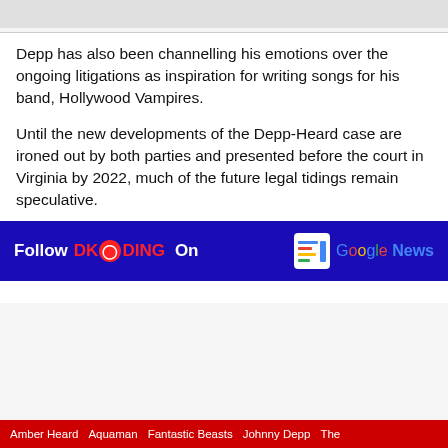Depp has also been channelling his emotions over the ongoing litigations as inspiration for writing songs for his band, Hollywood Vampires.
Until the new developments of the Depp-Heard case are ironed out by both parties and presented before the court in Virginia by 2022, much of the future legal tidings remain speculative.
[Figure (infographic): Blue banner with 'Follow DKODING On' text in white and red, with Google News logo on the right]
Amber Heard   Aquaman   Fantastic Beasts   Johnny Depp   The